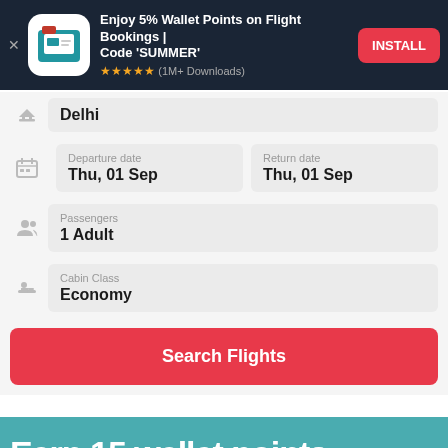[Figure (screenshot): App install banner ad for a travel/wallet app. Dark navy background with app icon (briefcase/wallet), text 'Enjoy 5% Wallet Points on Flight Bookings | Code SUMMER', 5 star rating, '1M+ Downloads', and red INSTALL button.]
Delhi
Departure date
Thu, 01 Sep
Return date
Thu, 01 Sep
Passengers
1 Adult
Cabin Class
Economy
Search Flights